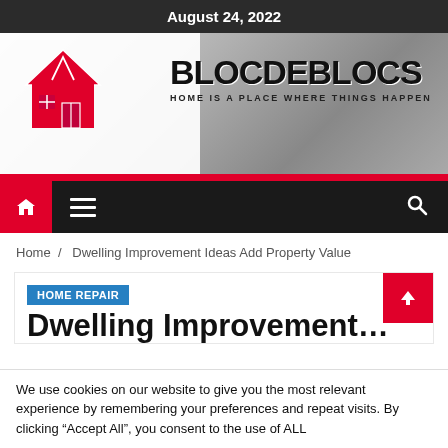August 24, 2022
[Figure (screenshot): Blocdeblocs website banner with pink house logo and grayscale building background. Site title: BLOCDEBLOCS. Subtitle: HOME IS A PLACE WHERE THINGS HAPPEN]
[Figure (screenshot): Navigation bar with red home icon button, hamburger menu, and search icon on dark background]
Home / Dwelling Improvement Ideas Add Property Value
HOME REPAIR
Dwelling Improvement...
We use cookies on our website to give you the most relevant experience by remembering your preferences and repeat visits. By clicking "Accept All", you consent to the use of ALL